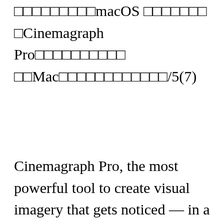□□□□□□□□□macOS □□□□□□□ □Cinemagraph Pro□□□□□□□□□□ □□Mac□□□□□□□□□□□□/5(7)
Cinemagraph Pro, the most powerful tool to create visual imagery that gets noticed — in a class of its own. Cinemagraphs made easy. The only professional editing tool on-the-go